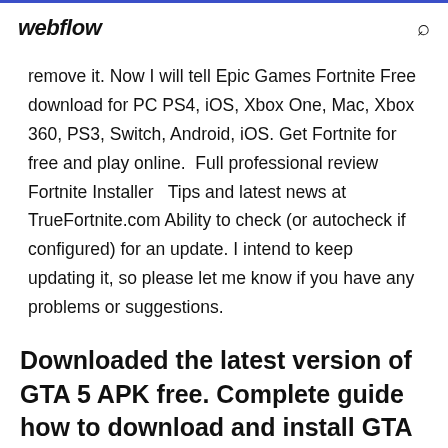webflow
remove it. Now I will tell Epic Games Fortnite Free download for PC PS4, iOS, Xbox One, Mac, Xbox 360, PS3, Switch, Android, iOS. Get Fortnite for free and play online.  Full professional review  Fortnite Installer   Tips and latest news at TrueFortnite.com Ability to check (or autocheck if configured) for an update. I intend to keep updating it, so please let me know if you have any problems or suggestions.
Downloaded the latest version of GTA 5 APK free. Complete guide how to download and install GTA